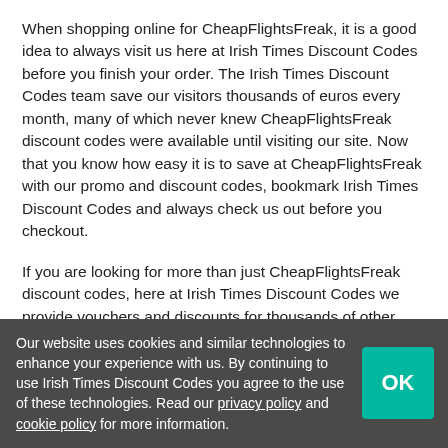When shopping online for CheapFlightsFreak, it is a good idea to always visit us here at Irish Times Discount Codes before you finish your order. The Irish Times Discount Codes team save our visitors thousands of euros every month, many of which never knew CheapFlightsFreak discount codes were available until visiting our site. Now that you know how easy it is to save at CheapFlightsFreak with our promo and discount codes, bookmark Irish Times Discount Codes and always check us out before you checkout.
If you are looking for more than just CheapFlightsFreak discount codes, here at Irish Times Discount Codes we provide vouchers and discounts for thousands of other popular brands and retailers. Check out our CheapFlightsFreak related stores, or visit our homepage to search our database of thousands of discount codes.
Our website uses cookies and similar technologies to enhance your experience with us. By continuing to use Irish Times Discount Codes you agree to the use of these technologies. Read our privacy policy and cookie policy for more information.